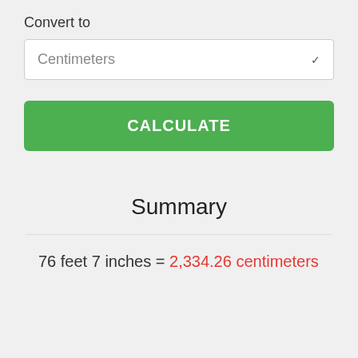Convert to
Centimeters
CALCULATE
Summary
76 feet 7 inches = 2,334.26 centimeters